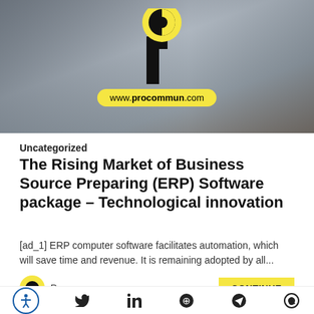[Figure (photo): Office/desk background with a woman and computer monitors. Procommun logo (black letter P with yellow C circle) overlaid at top center. Yellow pill-shaped badge showing www.procommun.com at bottom center of image.]
Uncategorized
The Rising Market of Business Source Preparing (ERP) Software package – Technological innovation
[ad_1] ERP computer software facilitates automation, which will save time and revenue. It is remaining adopted by all...
Procommun
CONTINUE